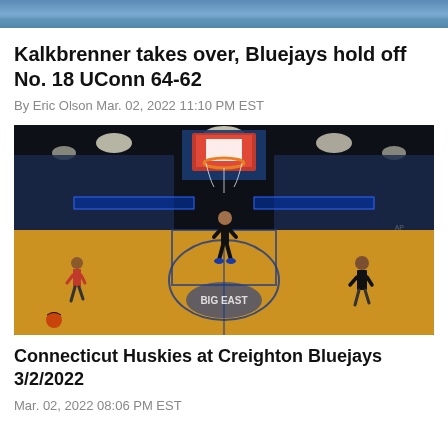[Figure (photo): Top portion of a basketball arena photo, partially cropped]
Kalkbrenner takes over, Bluejays hold off No. 18 UConn 64-62
By Eric Olson Mar. 02, 2022 11:10 PM EST
[Figure (photo): Basketball arena interior photo showing a player dunking or at the basket during warmups at a large indoor arena with blue lighting and court markings]
Connecticut Huskies at Creighton Bluejays 3/2/2022
Mar. 02, 2022 08:06 PM EST